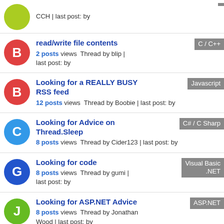CCH | last post: by
read/write file contents — 2 posts views Thread by blip | last post: by — C / C++
Looking for a REALLY BUSY RSS feed — 12 posts views Thread by Boobie | last post: by — Javascript
Looking for Advice on Thread.Sleep — 8 posts views Thread by Cider123 | last post: by — C# / C Sharp
Looking for code — 8 posts views Thread by gumi | last post: by — Visual Basic .NET
Looking for ASP.NET Advice — 8 posts views Thread by Jonathan Wood | last post: by — ASP.NET